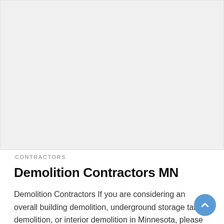[Figure (photo): Large placeholder image area with light gray background, likely a photo of demolition or construction work.]
CONTRACTORS
Demolition Contractors MN
Demolition Contractors If you are considering an overall building demolition, underground storage tank demolition, or interior demolition in Minnesota, please contact